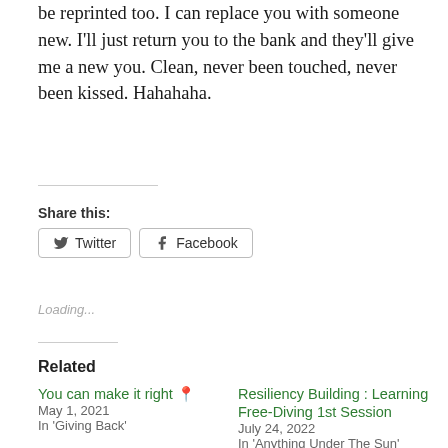be reprinted too. I can replace you with someone new. I'll just return you to the bank and they'll give me a new you. Clean, never been touched, never been kissed. Hahahaha.
Share this:
Twitter  Facebook
Loading...
Related
You can make it right 📍
May 1, 2021
In 'Giving Back'
Resiliency Building : Learning Free-Diving 1st Session
July 24, 2022
In 'Anything Under The Sun'